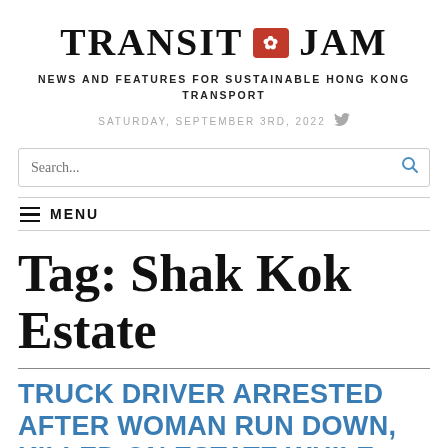TRANSIT JAM
NEWS AND FEATURES FOR SUSTAINABLE HONG KONG TRANSPORT
SATURDAY, SEPTEMBER 3RD, 2022
Search...
MENU
Tag: Shak Kok Estate
TRUCK DRIVER ARRESTED AFTER WOMAN RUN DOWN, KILLED ON ESTATE WHILE COLLECTING CARDBOARD